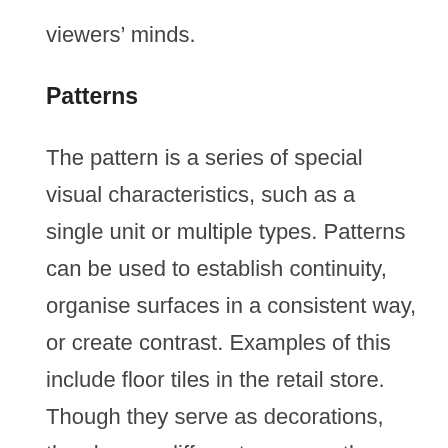viewers' minds.
Patterns
The pattern is a series of special visual characteristics, such as a single unit or multiple types. Patterns can be used to establish continuity, organise surfaces in a consistent way, or create contrast. Examples of this include floor tiles in the retail store. Though they serve as decorations, they have a different purpose; they lead the consumer around the store.